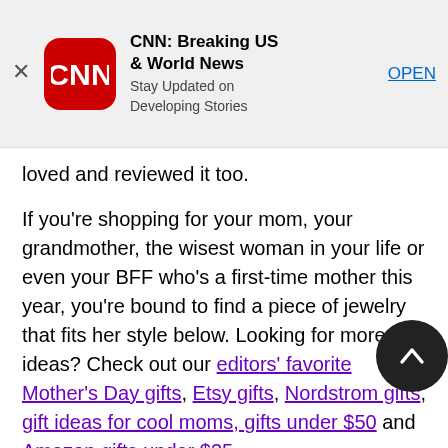[Figure (screenshot): CNN app install banner with red CNN logo icon, app name 'CNN: Breaking US & World News', subtitle 'Stay Updated on Developing Stories', and an 'OPEN' button link. A close (X) button is on the left.]
loved and reviewed it too.
If you're shopping for your mom, your grandmother, the wisest woman in your life or even your BFF who's a first-time mother this year, you're bound to find a piece of jewelry that fits her style below. Looking for more ideas? Check out our editors' favorite Mother's Day gifts, Etsy gifts, Nordstrom gifts, gift ideas for cool moms, gifts under $50 and Amazon gifts under $25.
Mother's Day necklaces
CaitlynMinimalist Dainty